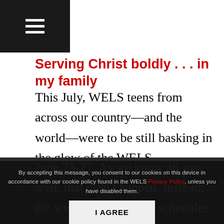≡ (navigation hamburger menu)
Serving Christ boldly . . . in my family
This July, WELS teens from across our country—and the world—were to be still basking in the glow of the WELS International Youth Rally scheduled at the University of Tennessee in Knoxville, TN June 23-27. As we know all too well, that didn't happen. Instead, the world stopped. Our schedules were interrupted. Instead of traveling with friends to an exciting college town to praise our Lord in worship, study his
By accepting this message, you consent to our cookies on this device in accordance with our cookie policy found in the WELS Privacy Policy, unless you have disabled them.
I AGREE